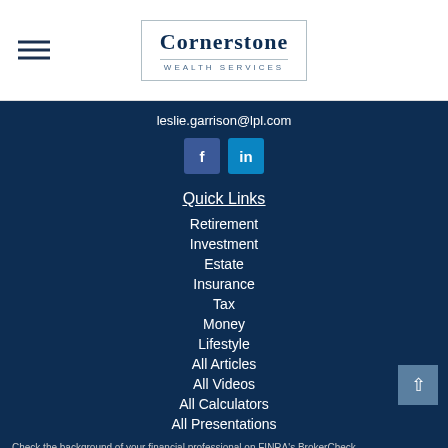[Figure (logo): Cornerstone Wealth Services logo with hamburger menu icon on left]
leslie.garrison@lpl.com
[Figure (illustration): Facebook and LinkedIn social media icons]
Quick Links
Retirement
Investment
Estate
Insurance
Tax
Money
Lifestyle
All Articles
All Videos
All Calculators
All Presentations
Check the background of your financial professional on FINRA's BrokerCheck.
The content is developed from sources believed to be providing accurate